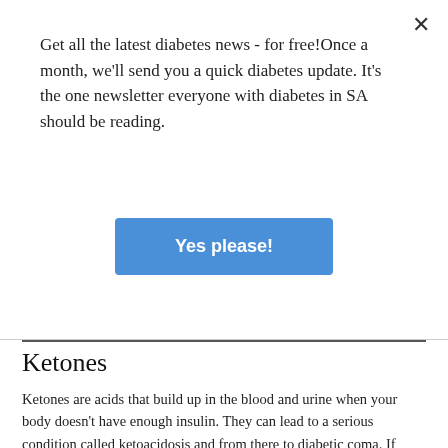Get all the latest diabetes news - for free!Once a month, we'll send you a quick diabetes update. It's the one newsletter everyone with diabetes in SA should be reading.
[Figure (other): Blue 'Yes please!' button for newsletter signup]
Ketones
Ketones are acids that build up in the blood and urine when your body doesn't have enough insulin. They can lead to a serious condition called ketoacidosis and from there to diabetic coma. If you're in good control, you don't have to worry about ketones. Here's what you need to know about ketoacidosis.
Meal plans
Meal plans are very helpful when you are first